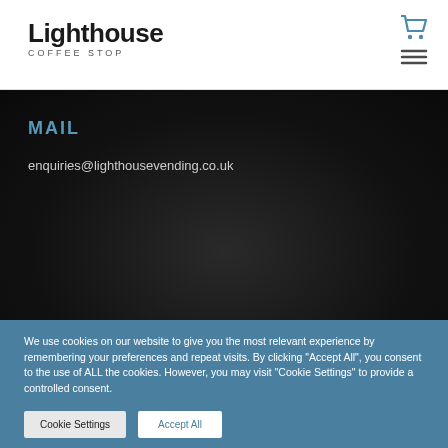Lighthouse Coffee Stop
MAIL
enquiries@lighthousevending.co.uk
We use cookies on our website to give you the most relevant experience by remembering your preferences and repeat visits. By clicking "Accept All", you consent to the use of ALL the cookies. However, you may visit "Cookie Settings" to provide a controlled consent.
Cookie Settings
Accept All